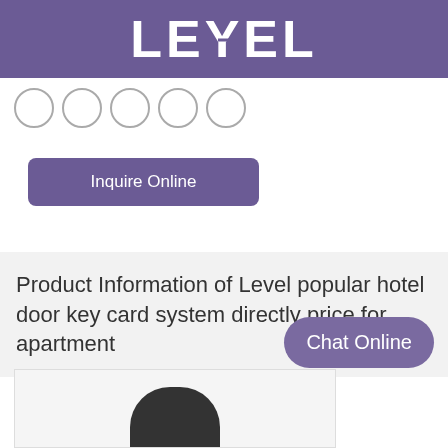LEVEL
[Figure (other): Five circular navigation icons in a row below the header]
Inquire Online
Product Information of Level popular hotel door key card system directly price for apartment
Chat Online
[Figure (photo): Partial product image showing top of a dark rounded device]